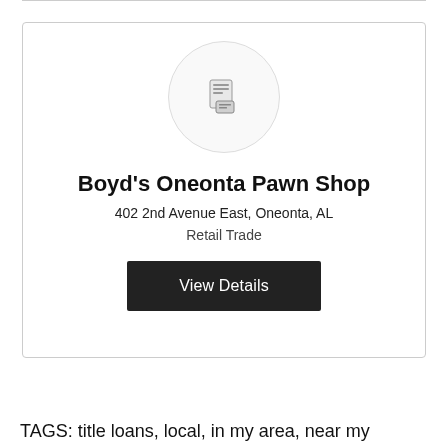[Figure (logo): Circular logo placeholder with a document/receipt icon in the center]
Boyd's Oneonta Pawn Shop
402 2nd Avenue East, Oneonta, AL
Retail Trade
View Details
TAGS: title loans, local, in my area, near my location, title loans, loans, pawn shop, pawn